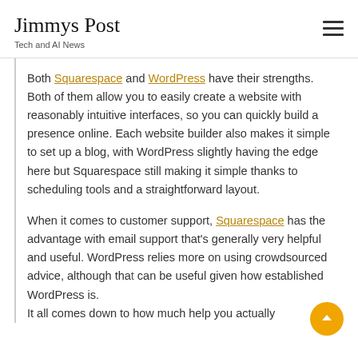Jimmys Post
Tech and AI News
Both Squarespace and WordPress have their strengths. Both of them allow you to easily create a website with reasonably intuitive interfaces, so you can quickly build a presence online. Each website builder also makes it simple to set up a blog, with WordPress slightly having the edge here but Squarespace still making it simple thanks to scheduling tools and a straightforward layout.
When it comes to customer support, Squarespace has the advantage with email support that's generally very helpful and useful. WordPress relies more on using crowdsourced advice, although that can be useful given how established WordPress is. It all comes down to how much help you actually